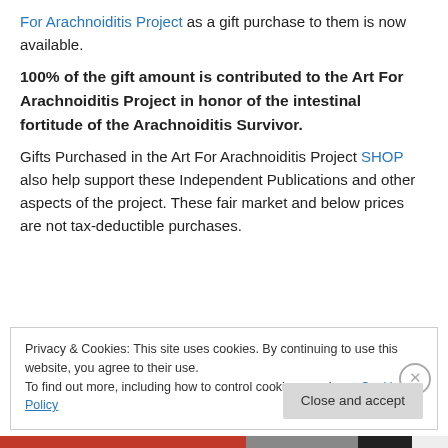For Arachnoiditis Project as a gift purchase to them is now available.
100% of the gift amount is contributed to the Art For Arachnoiditis Project in honor of the intestinal fortitude of the Arachnoiditis Survivor.
Gifts Purchased in the Art For Arachnoiditis Project SHOP also help support these Independent Publications and other aspects of the project. These fair market and below prices are not tax-deductible purchases.
Privacy & Cookies: This site uses cookies. By continuing to use this website, you agree to their use. To find out more, including how to control cookies, see here: Cookie Policy